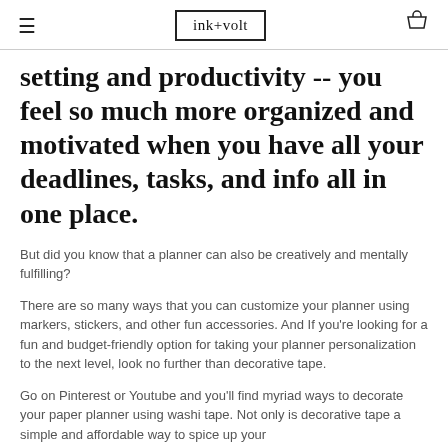ink+volt
setting and productivity -- you feel so much more organized and motivated when you have all your deadlines, tasks, and info all in one place.
But did you know that a planner can also be creatively and mentally fulfilling?
There are so many ways that you can customize your planner using markers, stickers, and other fun accessories. And If you're looking for a fun and budget-friendly option for taking your planner personalization to the next level, look no further than decorative tape.
Go on Pinterest or Youtube and you'll find myriad ways to decorate your paper planner using washi tape. Not only is decorative tape a simple and affordable way to spice up your